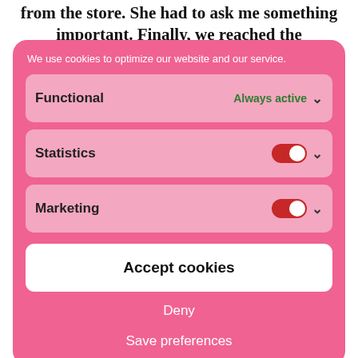from the store. She had to ask me something important. Finally, we reached the
We use cookies to optimize our website and our service.
Functional   Always active
Statistics
Marketing
Accept cookies
Deny
Save preferences